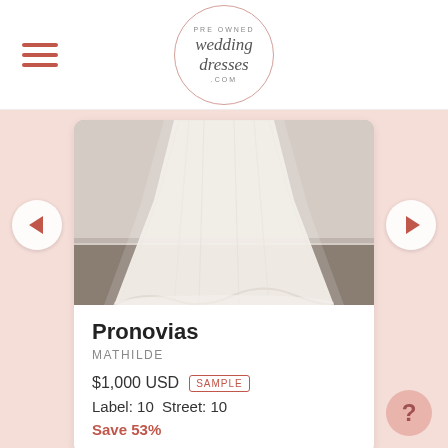[Figure (logo): Pre Owned Wedding Dresses .com circular logo with script font]
[Figure (photo): Photo of a white lace wedding dress train spread on a floor, back view]
Pronovias
MATHILDE
$1,000 USD SAMPLE
Label: 10  Street: 10
Save 53%